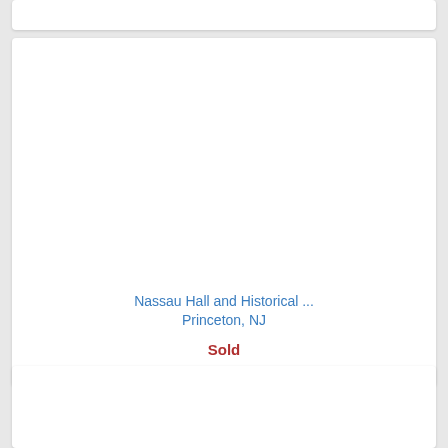Nassau Hall and Historical ...
Princeton, NJ
Sold